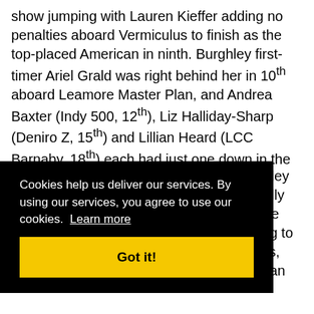show jumping with Lauren Kieffer adding no penalties aboard Vermiculus to finish as the top-placed American in ninth. Burghley first-timer Ariel Grald was right behind her in 10th aboard Leamore Master Plan, and Andrea Baxter (Indy 500, 12th), Liz Halliday-Sharp (Deniro Z, 15th) and Lillian Heard (LCC Barnaby, 18th) each had just one down in the final phase.
[Figure (screenshot): Cookie consent overlay banner with black background, text reading 'Cookies help us deliver our services. By using our services, you agree to use our cookies. Learn more' and a yellow 'Got it!' button.]
...rghley ...really ...here ...oing to ...was, ...e can